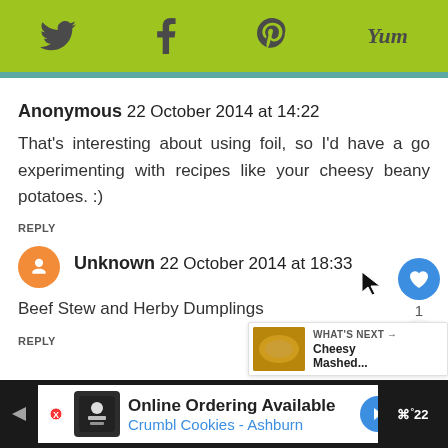[Figure (screenshot): Social sharing toolbar with Twitter, Facebook, Pinterest, and Yummly icons on a lime-green background]
Anonymous 22 October 2014 at 14:22
That's interesting about using foil, so I'd have a go experimenting with recipes like your cheesy beany potatoes. :)
REPLY
Unknown 22 October 2014 at 18:33
Beef Stew and Herby Dumplings
REPLY
[Figure (infographic): What's Next panel showing Cheesy Mashed... with a thumbnail of a golden dish]
[Figure (screenshot): Advertisement banner: Online Ordering Available - Crumbl Cookies - Ashburn]